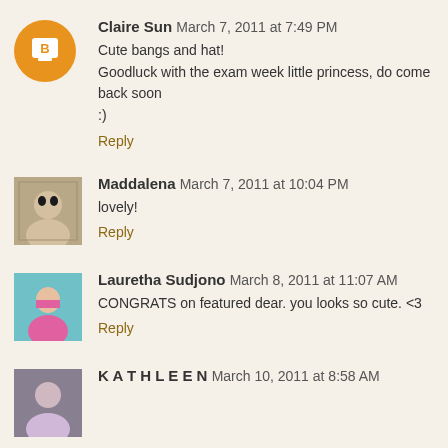Claire Sun  March 7, 2011 at 7:49 PM
Cute bangs and hat!
Goodluck with the exam week little princess, do come back soon :)
Reply
Maddalena  March 7, 2011 at 10:04 PM
lovely!
Reply
Lauretha Sudjono  March 8, 2011 at 11:07 AM
CONGRATS on featured dear. you looks so cute. <3
Reply
K A T H L E E N  March 10, 2011 at 8:58 AM